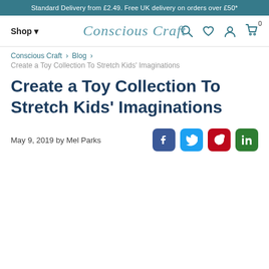Standard Delivery from £2.49. Free UK delivery on orders over £50*
[Figure (logo): Conscious Craft logo with cursive text and navigation bar with Shop, search, wishlist, account, and cart icons]
Conscious Craft › Blog ›
Create a Toy Collection To Stretch Kids' Imaginations
Create a Toy Collection To Stretch Kids' Imaginations
May 9, 2019 by Mel Parks